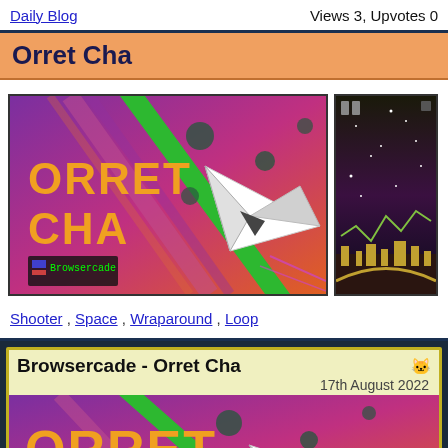Daily Blog    Views 3, Upvotes 0
Orret Cha
[Figure (screenshot): Orret Cha game screenshot showing colorful space shooter with paper plane and 'ORRET CHA' title text and Browsercade logo]
[Figure (screenshot): Side panel screenshot showing dark space game with glowing elements]
Shooter , Space , Wraparound , Loop
Browsercade - Orret Cha  17th August 2022
[Figure (screenshot): Orret Cha game screenshot showing ORRET text with colorful background]